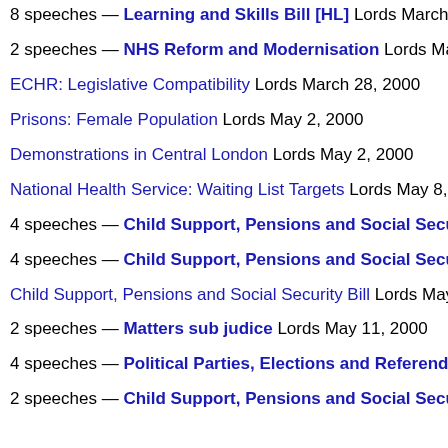8 speeches — Learning and Skills Bill [HL] Lords March 1...
2 speeches — NHS Reform and Modernisation Lords March...
ECHR: Legislative Compatibility Lords March 28, 2000
Prisons: Female Population Lords May 2, 2000
Demonstrations in Central London Lords May 2, 2000
National Health Service: Waiting List Targets Lords May 8, 200...
4 speeches — Child Support, Pensions and Social Security...
4 speeches — Child Support, Pensions and Social Security...
Child Support, Pensions and Social Security Bill Lords May 8,...
2 speeches — Matters sub judice Lords May 11, 2000
4 speeches — Political Parties, Elections and Referendums...
2 speeches — Child Support, Pensions and Social Security...